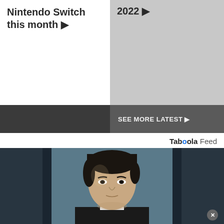Nintendo Switch this month ▶
2022 ▶
SEE MORE LATEST ▶
Taboola Feed
[Figure (photo): Man in suit looking upward, photographed in a dark industrial or office hallway with a close-up on his face, cinematic style. A small X close button appears in the lower right corner.]